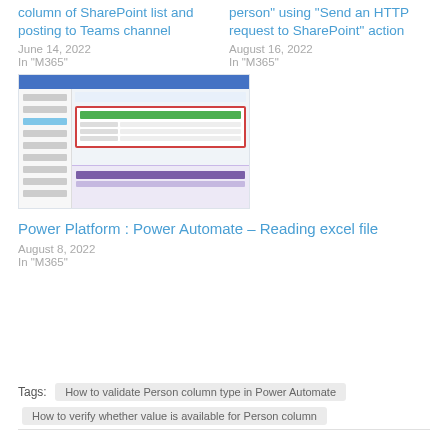column of SharePoint list and posting to Teams channel
June 14, 2022
In "M365"
person" using "Send an HTTP request to SharePoint" action
August 16, 2022
In "M365"
[Figure (screenshot): Screenshot of Power Automate interface showing a flow with a dialog box highlighted in red border, and a purple panel at the bottom]
Power Platform : Power Automate – Reading excel file
August 8, 2022
In "M365"
Tags:  How to validate Person column type in Power Automate
How to verify whether value is available for Person column